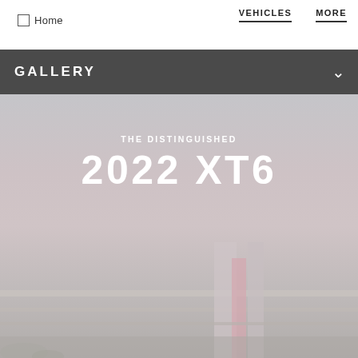Home  VEHICLES  MORE
GALLERY
[Figure (photo): Hero image of 2022 Cadillac XT6 with architectural background in muted pink/grey tones, overlaid with text THE DISTINGUISHED 2022 XT6]